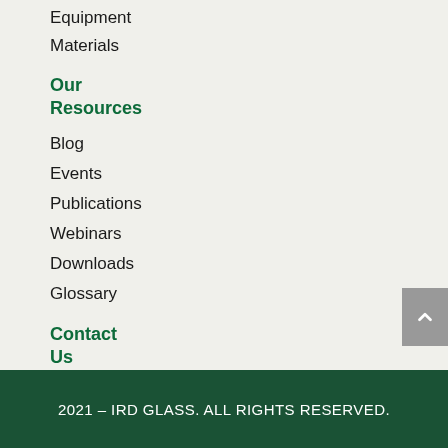Equipment
Materials
Our Resources
Blog
Events
Publications
Webinars
Downloads
Glossary
Contact Us
Contact
Careers
2021 – IRD GLASS. ALL RIGHTS RESERVED.